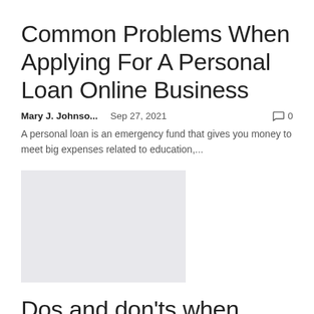Common Problems When Applying For A Personal Loan Online Business
Mary J. Johnso...   Sep 27, 2021   💬 0
A personal loan is an emergency fund that gives you money to meet big expenses related to education,...
[Figure (photo): Thumbnail image placeholder (light gray rectangle)]
Dos and don'ts when applying